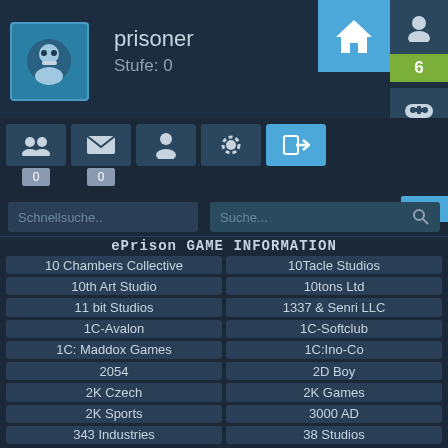prisoner
Stufe: 0
6
0
0
0
,99 €
Schnellsuche..
Suche...
ePrison GAME INFORMATION
| 10 Chambers Collective | 10Tacle Studios |
| 10th Art Studio | 10tons Ltd |
| 11 bit Studios | 1337 & Senri LLC |
| 1C-Avalon | 1C-Softclub |
| 1C: Maddox Games | 1C:Ino-Co |
| 2054 | 2D Boy |
| 2K Czech | 2K Games |
| 2K Sports | 3000 AD |
| 343 Industries | 38 Studios |